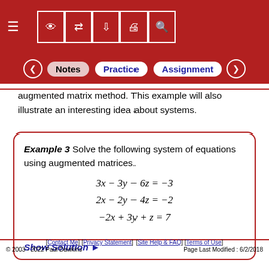≡ [eye icon] [arrows icon] [download icon] [print icon] [search icon]
< Notes | Practice | Assignment >
augmented matrix method. This example will also illustrate an interesting idea about systems.
Example 3 Solve the following system of equations using augmented matrices.
Show Solution ▶
[Contact Me] [Privacy Statement] [Site Help & FAQ] [Terms of Use]
© 2003 - 2022 Paul Dawkins    Page Last Modified : 6/2/2018